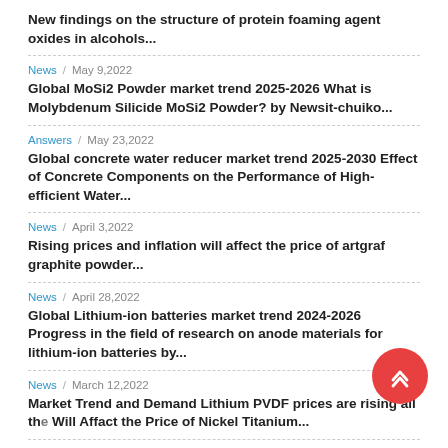New findings on the structure of protein foaming agent oxides in alcohols...
News / May 9,2022
Global MoSi2 Powder market trend 2025-2026 What is Molybdenum Silicide MoSi2 Powder? by Newsit-chuiko...
Answers / May 23,2022
Global concrete water reducer market trend 2025-2030 Effect of Concrete Components on the Performance of High-efficient Water...
News / April 3,2022
Rising prices and inflation will affect the price of artgraf graphite powder...
News / April 28,2022
Global Lithium-ion batteries market trend 2024-2026 Progress in the field of research on anode materials for lithium-ion batteries by...
News / March 12,2022
Market Trend and Demand Lithium PVDF prices are rising all the... Will Affact the Price of Nickel Titanium...